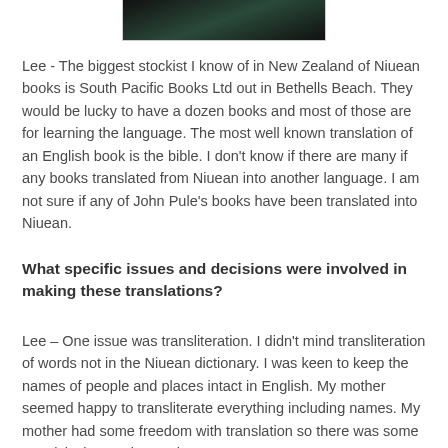[Figure (photo): Partial photo of a person at the top of the page, mostly cropped, dark background]
Lee - The biggest stockist I know of in New Zealand of Niuean books is South Pacific Books Ltd out in Bethells Beach. They would be lucky to have a dozen books and most of those are for learning the language. The most well known translation of an English book is the bible. I don't know if there are many if any books translated from Niuean into another language. I am not sure if any of John Pule's books have been translated into Niuean.
What specific issues and decisions were involved in making these translations?
Lee – One issue was transliteration. I didn't mind transliteration of words not in the Niuean dictionary. I was keen to keep the names of people and places intact in English. My mother seemed happy to transliterate everything including names. My mother had some freedom with translation so there was some creativity in creating a Niuean